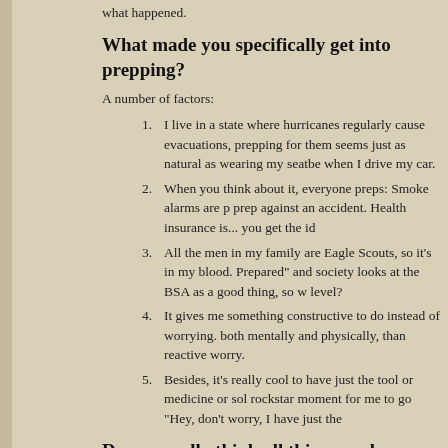what happened.
What made you specifically get into prepping?
A number of factors:
I live in a state where hurricanes regularly cause evacuations, prepping for them seems just as natural as wearing my seatbelt when I drive my car.
When you think about it, everyone preps: Smoke alarms are prep against an accident. Health insurance is... you get the idea.
All the men in my family are Eagle Scouts, so it's in my blood. "Be Prepared" and society looks at the BSA as a good thing, so why not take it to another level?
It gives me something constructive to do instead of worrying. Proactive worry is better, both mentally and physically, than reactive worry.
Besides, it's really cool to have just the tool or medicine or solution someone needs. Total rockstar moment for me to go "Hey, don't worry, I have just the..."
Do you really think all this apocalypse talk is real?